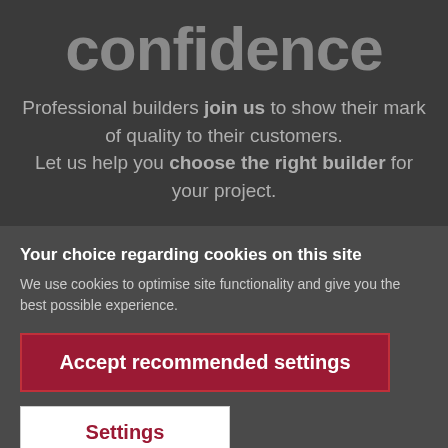confidence
Professional builders join us to show their mark of quality to their customers. Let us help you choose the right builder for your project.
Your choice regarding cookies on this site
We use cookies to optimise site functionality and give you the best possible experience.
Accept recommended settings
Settings